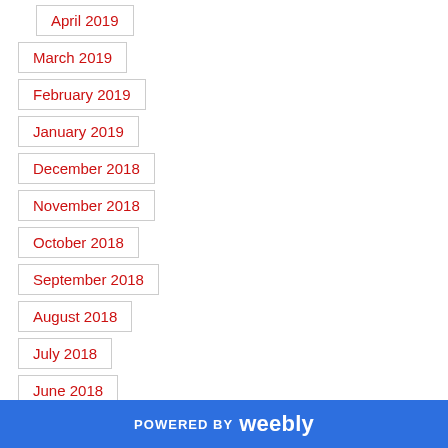April 2019
March 2019
February 2019
January 2019
December 2018
November 2018
October 2018
September 2018
August 2018
July 2018
June 2018
May 2018
April 2018
March 2018
POWERED BY weebly